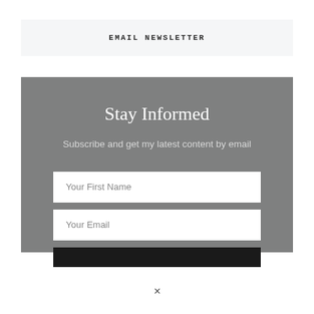EMAIL NEWSLETTER
Stay Informed
Subscribe and get my latest content by email
Your First Name
Your Email